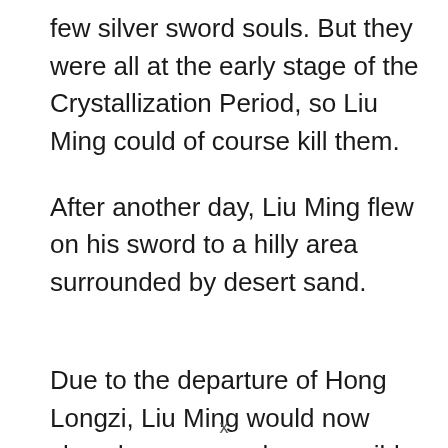few silver sword souls. But they were all at the early stage of the Crystallization Period, so Liu Ming could of course kill them.
After another day, Liu Ming flew on his sword to a hilly area surrounded by desert sand.
Due to the departure of Hong Longzi, Liu Ming would now slow down as much as possible
x